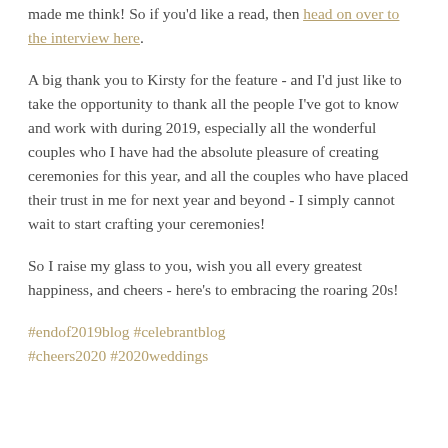made me think! So if you'd like a read, then head on over to the interview here.
A big thank you to Kirsty for the feature - and I'd just like to take the opportunity to thank all the people I've got to know and work with during 2019, especially all the wonderful couples who I have had the absolute pleasure of creating ceremonies for this year, and all the couples who have placed their trust in me for next year and beyond - I simply cannot wait to start crafting your ceremonies!
So I raise my glass to you, wish you all every greatest happiness, and cheers - here's to embracing the roaring 20s!
#endof2019blog #celebrantblog #cheers2020 #2020weddings